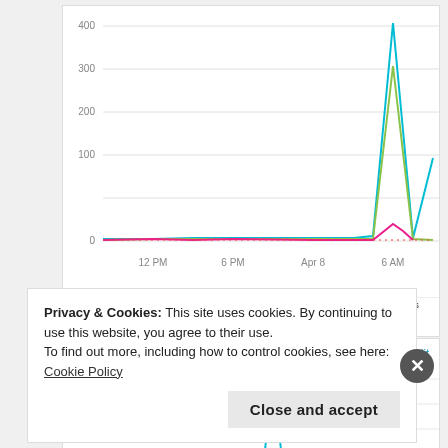[Figure (line-chart): Response time / HTTP metrics chart]
AVERAGE RESPONSE TIME 0.78
HTTP 2XX 772
HTTP 4XX 30
HTTP SERVER ERRORS 3
Requests and errors
[Figure (line-chart): Requests and errors chart]
Privacy & Cookies: This site uses cookies. By continuing to use this website, you agree to their use. To find out more, including how to control cookies, see here: Cookie Policy
Close and accept